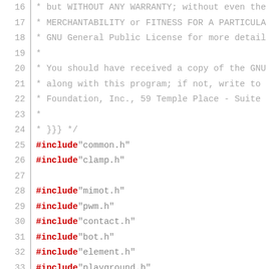Source code listing lines 16-42, C preprocessor includes and comments
16  * but WITHOUT ANY WARRANTY; without even the
17  * MERCHANTABILITY or FITNESS FOR A PARTICULA
18  * GNU General Public License for more detail
19  *
20  * You should have received a copy of the GNU
21  * along with this program; if not, write to
22  * Foundation, Inc., 59 Temple Place - Suite
23  *
24  * }}} */
25  #include "common.h"
26  #include "clamp.h"
27
28  #include "mimot.h"
29  #include "pwm.h"
30  #include "contact.h"
31  #include "bot.h"
32  #include "element.h"
33  #include "playground.h"
34
35  #define FSM_NAME AI
36  #include "fsm.h"
37  #include "fsm_queue.h"
38
39  #include "logistic.h"
40  #include "pawn_sensor.h"
41
42  /*